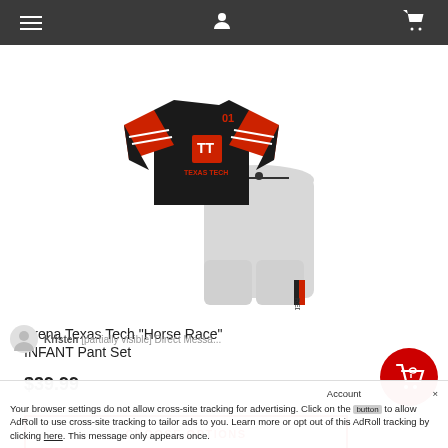Navigation bar with hamburger menu, user icon, and cart icon
[Figure (photo): Arena Texas Tech Horse Race INFANT Pant Set product photo showing a black jersey-style shirt with red accents and number 01, Texas Tech TT logo, and gray jogger pants with black and red stripe on leg]
Arena Texas Tech "Horse Race" INFANT Pant Set
$39.99
CHOOSE OPTIONS
Kristen [partially visible text] Direct Messa...
Acc[ount] ×
Your browser settings do not allow cross-site tracking for advertising. Click on the [button] to allow AdRoll to use cross-site tracking to tailor ads to you. Learn more or opt out of this AdRoll tracking by clicking here. This message only appears once.